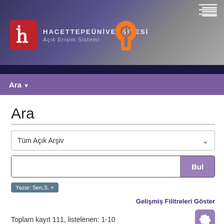[Figure (screenshot): Hacettepe Üniversitesi Açık Erişim Sistemi header with university logo, open access icon, navigation bar]
Ara ▼
Ara
Tüm Açık Arşiv
Bul
Yazar: Sen,S. ×
Gelişmiş Filitreleri Göster
Toplam kayıt 111, listelenen: 1-10